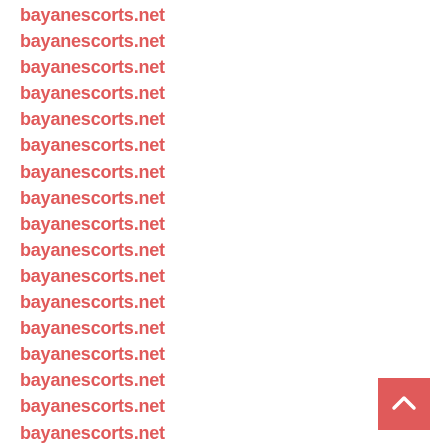bayanescorts.net
bayanescorts.net
bayanescorts.net
bayanescorts.net
bayanescorts.net
bayanescorts.net
bayanescorts.net
bayanescorts.net
bayanescorts.net
bayanescorts.net
bayanescorts.net
bayanescorts.net
bayanescorts.net
bayanescorts.net
bayanescorts.net
bayanescorts.net
bayanescorts.net
bayanescorts.net
bayanescorts.net
bayanescorts.net
bayanescorts.net
[Figure (other): Back to top button - red square with white upward arrow]